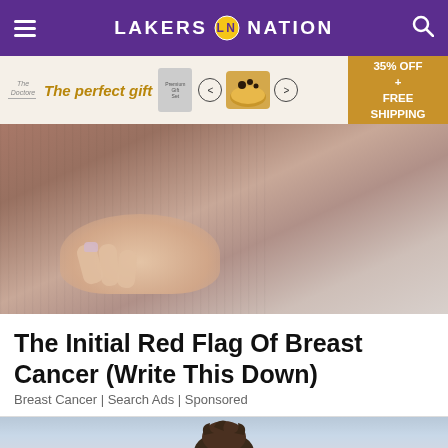LAKERS NATION
[Figure (other): Advertisement banner: 'The perfect gift' with product images and '35% OFF + FREE SHIPPING' promo]
[Figure (photo): Close-up photo of a hand touching a chest/breast area, illustrating a breast cancer article]
The Initial Red Flag Of Breast Cancer (Write This Down)
Breast Cancer | Search Ads | Sponsored
[Figure (photo): Photo of a person's head/face from a second article]